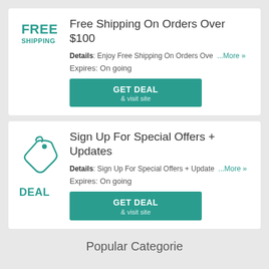Free Shipping On Orders Over $100
Details: Enjoy Free Shipping On Orders Ove ...More »
Expires: On going
GET DEAL & visit site
Sign Up For Special Offers + Updates
Details: Sign Up For Special Offers + Update ...More »
Expires: On going
GET DEAL & visit site
Popular Categories